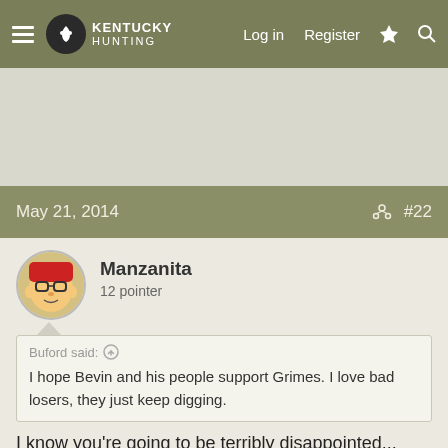Kentucky Hunting | Log in | Register
May 21, 2014 #22
Manzanita
12 pointer
Buford said: ↑
I hope Bevin and his people support Grimes. I love bad losers, they just keep digging.
I know you're going to be terribly disappointed...
[video=youtube_share;nfbjx_5xliw]http://youtu.be/nfbjx_5xliw[/vi...